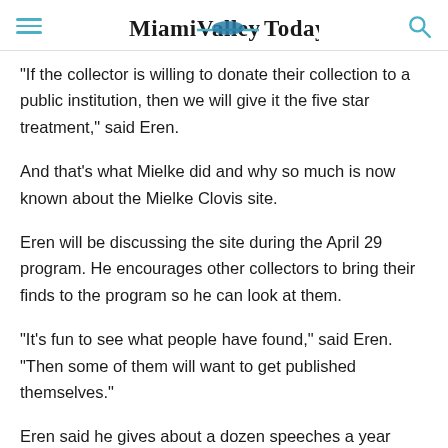Miami Valley Today
“If the collector is willing to donate their collection to a public institution, then we will give it the five star treatment,” said Eren.
And that’s what Mielke did and why so much is now known about the Mielke Clovis site.
Eren will be discussing the site during the April 29 program. He encourages other collectors to bring their finds to the program so he can look at them.
“It’s fun to see what people have found,” said Eren. “Then some of them will want to get published themselves.”
Eren said he gives about a dozen speeches a year around